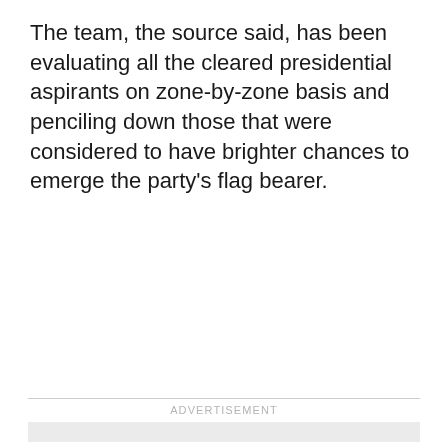The team, the source said, has been evaluating all the cleared presidential aspirants on zone-by-zone basis and penciling down those that were considered to have brighter chances to emerge the party’s flag bearer.
ADVERTISEMENT
[Figure (other): Advertisement placeholder gray box]